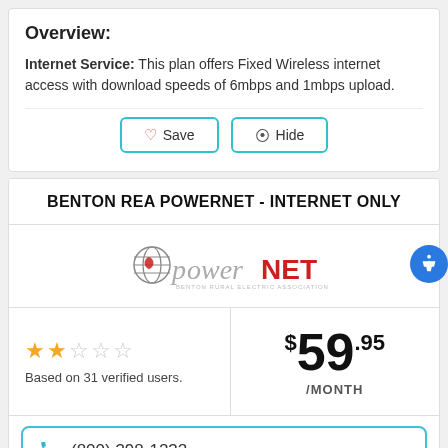Overview:
Internet Service: This plan offers Fixed Wireless internet access with download speeds of 6mbps and 1mbps upload.
[Figure (other): Two buttons: a heart-icon Save button and an eye-icon Hide button, styled with teal border]
BENTON REA POWERNET - INTERNET ONLY
[Figure (logo): PowerNET logo with globe icon — Benton Rural Electric Association]
Based on 31 verified users.
$59.95 /MONTH
(800) 398-1232